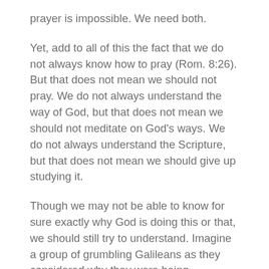prayer is impossible. We need both.
Yet, add to all of this the fact that we do not always know how to pray (Rom. 8:26). But that does not mean we should not pray. We do not always understand the way of God, but that does not mean we should not meditate on God's ways. We do not always understand the Scripture, but that does not mean we should give up studying it.
Though we may not be able to know for sure exactly why God is doing this or that, we should still try to understand. Imagine a group of grumbling Galileans as they considered why they were being registered as part of the Roman World during the days of Caesar Augustus. One of the most obvious reasons, in those days, was to have